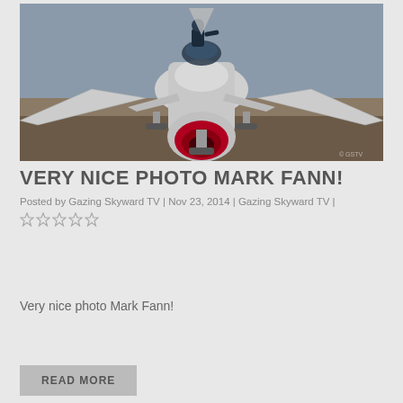[Figure (photo): Front-on photograph of a military jet aircraft (appears to be an F-16 Thunderbird) on a runway, with a crew member visible on top of the aircraft near the cockpit. The aircraft is silver/chrome with a red intake nose cone. Taken from a low angle showing the full wingspan and landing gear.]
VERY NICE PHOTO MARK FANN!
Posted by Gazing Skyward TV | Nov 23, 2014 | Gazing Skyward TV |
Very nice photo Mark Fann!
READ MORE